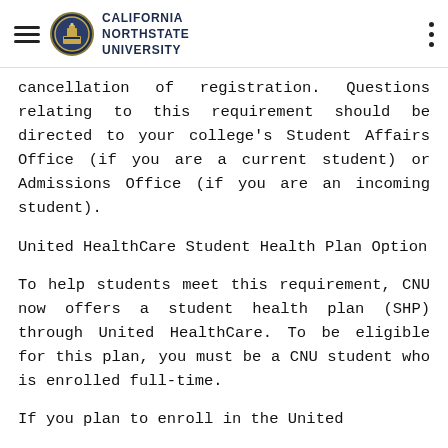California Northstate University
cancellation of registration. Questions relating to this requirement should be directed to your college's Student Affairs Office (if you are a current student) or Admissions Office (if you are an incoming student).
United HealthCare Student Health Plan Option
To help students meet this requirement, CNU now offers a student health plan (SHP) through United HealthCare. To be eligible for this plan, you must be a CNU student who is enrolled full-time.
If you plan to enroll in the United